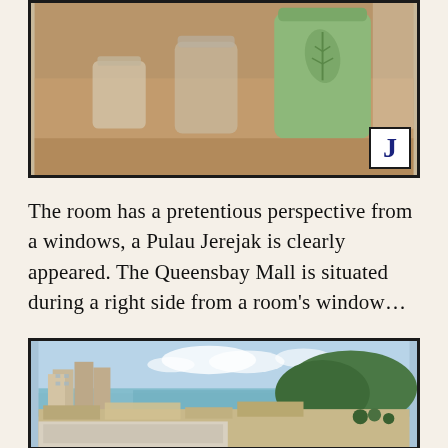[Figure (photo): Close-up photo of Japanese-style green tea cups on a wooden table, including a green frosted cup with a leaf design]
The room has a pretentious perspective from a windows, a Pulau Jerejak is clearly appeared. The Queensbay Mall is situated during a right side from a room's window…
[Figure (photo): Aerial view of Penang waterfront showing residential buildings, commercial area, sea, and forested hills (Pulau Jerejak) in the background]